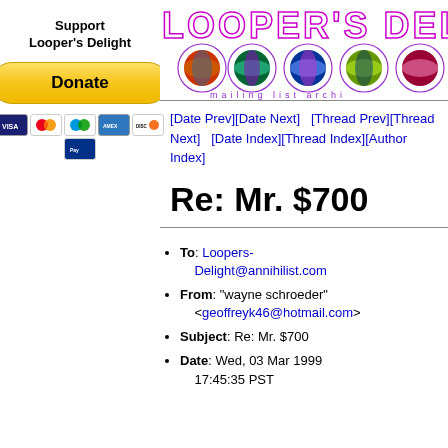Support
Looper's Delight
[Figure (other): PayPal Donate button with credit card icons (Visa, Mastercard, etc.)]
[Figure (logo): Looper's Delight mailing list archive logo with colorful circular graphics and stylized text]
[Date Prev][Date Next]   [Thread Prev][Thread Next]   [Date Index][Thread Index][Author Index]
Re: Mr. $700
To: Loopers-Delight@annihilist.com
From: "wayne schroeder" <geoffreyk46@hotmail.com>
Subject: Re: Mr. $700
Date: Wed, 03 Mar 1999 17:45:35 PST